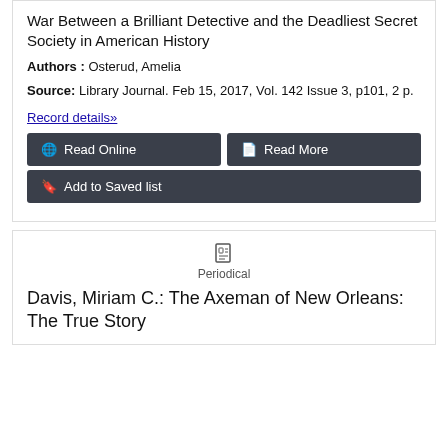War Between a Brilliant Detective and the Deadliest Secret Society in American History
Authors : Osterud, Amelia
Source: Library Journal. Feb 15, 2017, Vol. 142 Issue 3, p101, 2 p.
Record details»
Read Online
Read More
Add to Saved list
Periodical
Davis, Miriam C.: The Axeman of New Orleans: The True Story